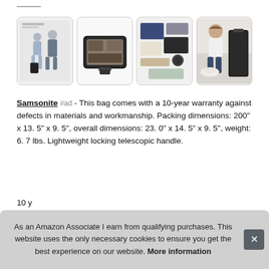[Figure (photo): Gallery of four product images: luggage with people, open suitcase, packed suitcase with clothes, woman sitting with luggage]
Samsonite #ad - This bag comes with a 10-year warranty against defects in materials and workmanship. Packing dimensions: 200" x 13. 5" x 9. 5", overall dimensions: 23. 0" x 14. 5" x 9. 5", weight: 6. 7 lbs. Lightweight locking telescopic handle.
10 y... test... mou... a TS... traveling.
As an Amazon Associate I earn from qualifying purchases. This website uses the only necessary cookies to ensure you get the best experience on our website. More information